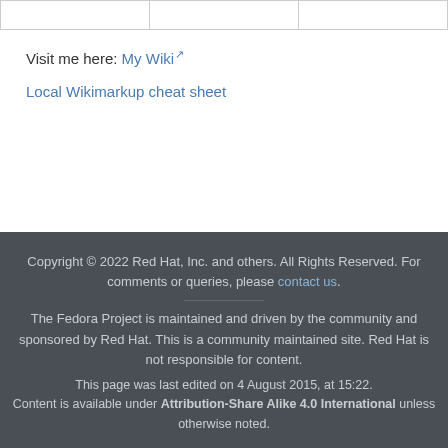|  |  |  |
| --- | --- | --- |
|  |  |  |
Visit me here: My Wiki
Local Wikimarkup cheat sheet
Copyright © 2022 Red Hat, Inc. and others. All Rights Reserved. For comments or queries, please contact us. The Fedora Project is maintained and driven by the community and sponsored by Red Hat. This is a community maintained site. Red Hat is not responsible for content. This page was last edited on 4 August 2015, at 15:22. Content is available under Attribution-Share Alike 4.0 International unless otherwise noted.